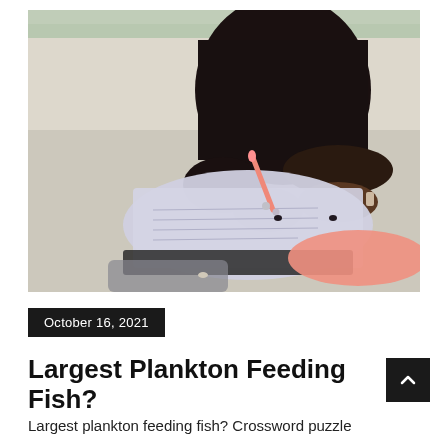[Figure (photo): A person wearing a black turtleneck sweater sitting on a beach, writing on documents placed on a clipboard, with a coral/pink highlighter pen and a coral paper visible. The background shows white sand and trees.]
October 16, 2021
Largest Plankton Feeding Fish?
Largest plankton feeding fish? Crossword puzzle